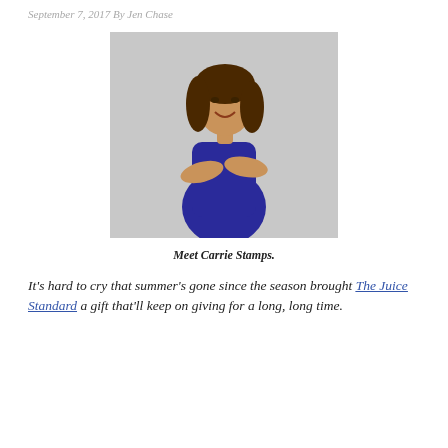September 7, 2017 By Jen Chase
[Figure (photo): A young woman with long brown wavy hair wearing a blue sleeveless dress, arms crossed, smiling, standing against a light grey background.]
Meet Carrie Stamps.
It's hard to cry that summer's gone since the season brought The Juice Standard a gift that'll keep on giving for a long, long time.